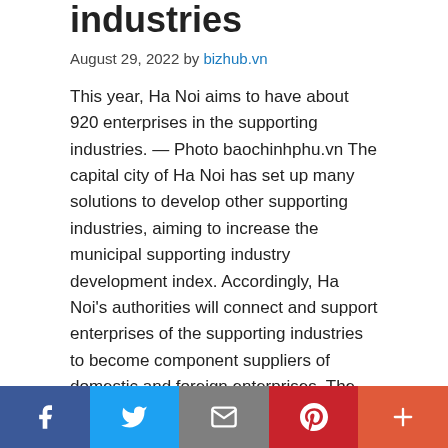industries
August 29, 2022 by bizhub.vn
This year, Ha Noi aims to have about 920 enterprises in the supporting industries. — Photo baochinhphu.vn The capital city of Ha Noi has set up many solutions to develop other supporting industries, aiming to increase the municipal supporting industry development index. Accordingly, Ha Noi's authorities will connect and support enterprises of the supporting industries to become component suppliers of domestic and foreign enterprises. The city will attract foreign investment in this field and support the enterprises
Social share bar: Facebook, Twitter, Email, Pinterest, More